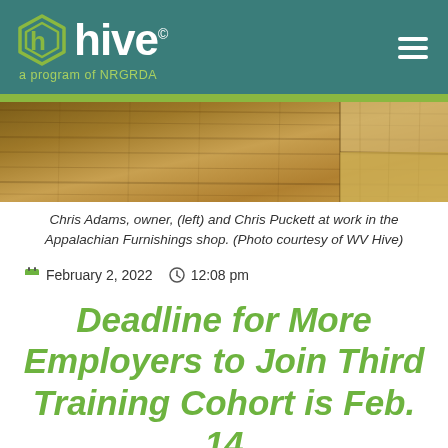hive© a program of NRGRDA
[Figure (photo): Close-up photo of wood grain and wooden panels in a furniture shop, warm brown tones]
Chris Adams, owner, (left) and Chris Puckett at work in the Appalachian Furnishings shop. (Photo courtesy of WV Hive)
February 2, 2022  12:08 pm
Deadline for More Employers to Join Third Training Cohort is Feb. 14